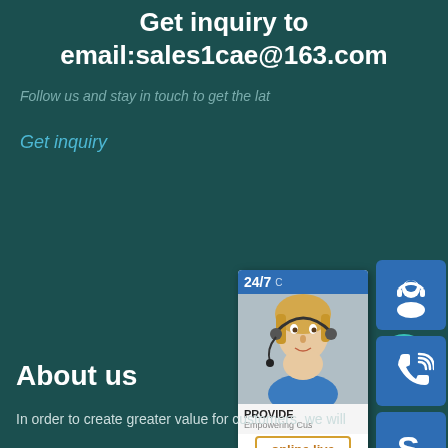Get inquiry to email:sales1cae@163.com
Follow us and stay in touch to get the lat...
Get inquiry
[Figure (infographic): Customer service widget panel with headset icon, phone icon, Skype icon, a customer service representative photo with '24/7' label and 'PROVIDE Empowering Customers' text, and an 'online live' button]
About us
In order to create greater value for customers, we will